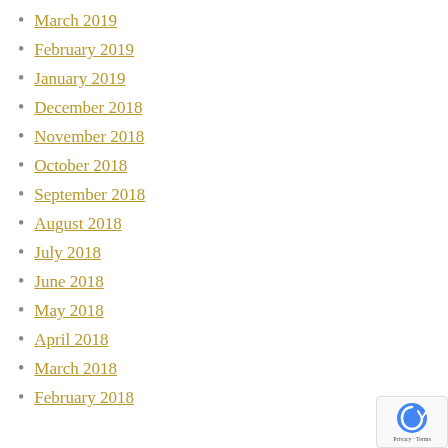March 2019
February 2019
January 2019
December 2018
November 2018
October 2018
September 2018
August 2018
July 2018
June 2018
May 2018
April 2018
March 2018
February 2018